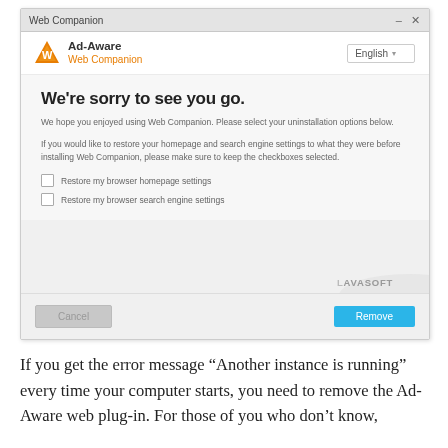[Figure (screenshot): Web Companion uninstaller dialog showing 'We're sorry to see you go.' message with checkboxes to restore browser homepage and search engine settings, Cancel and Remove buttons, and Lavasoft branding.]
If you get the error message “Another instance is running” every time your computer starts, you need to remove the Ad-Aware web plug-in. For those of you who don’t know,